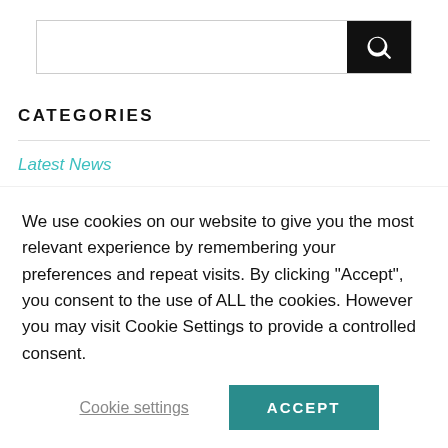[Figure (screenshot): Search bar with text input field and black search button with magnifying glass icon]
CATEGORIES
Latest News
RECENT POSTS
[Figure (infographic): Verified Reviews widget showing rating 5 stars with 'Verified Reviews' text and 'wf' logo with star]
We use cookies on our website to give you the most relevant experience by remembering your preferences and repeat visits. By clicking “Accept”, you consent to the use of ALL the cookies. However you may visit Cookie Settings to provide a controlled consent.
Cookie settings
ACCEPT